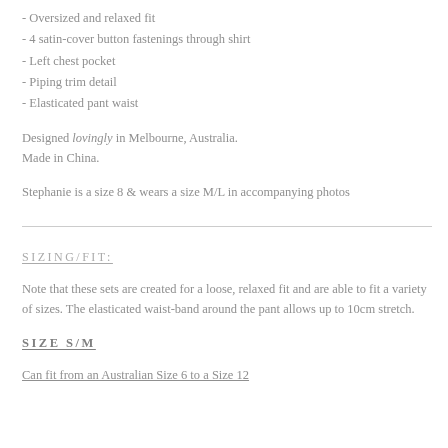- Oversized and relaxed fit
- 4 satin-cover button fastenings through shirt
- Left chest pocket
- Piping trim detail
- Elasticated pant waist
Designed lovingly in Melbourne, Australia.
Made in China.
Stephanie is a size 8 & wears a size M/L in accompanying photos
SIZING/FIT:
Note that these sets are created for a loose, relaxed fit and are able to fit a variety of sizes. The elasticated waist-band around the pant allows up to 10cm stretch.
SIZE S/M
Can fit from an Australian Size 6 to a Size 12